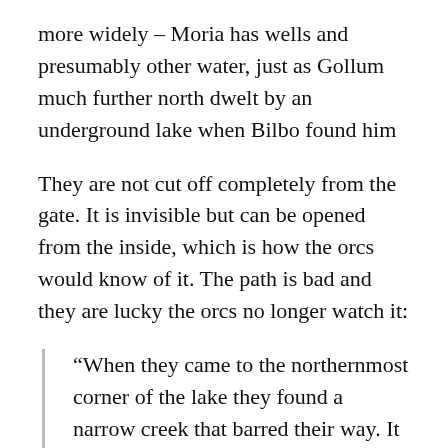more widely – Moria has wells and presumably other water, just as Gollum much further north dwelt by an underground lake when Bilbo found him
They are not cut off completely from the gate. It is invisible but can be opened from the inside, which is how the orcs would know of it. The path is bad and they are lucky the orcs no longer watch it:
“When they came to the northernmost corner of the lake they found a narrow creek that barred their way. It was green and stagnant, thrust out like a slimy arm